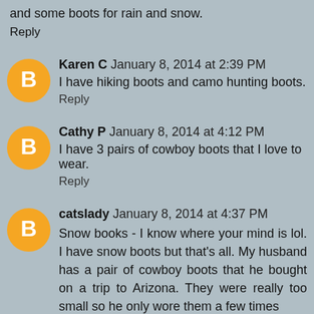...I've got a few pair of boots. A couple of heeled boots and some boots for rain and snow.
Reply
Karen C  January 8, 2014 at 2:39 PM
I have hiking boots and camo hunting boots.
Reply
Cathy P  January 8, 2014 at 4:12 PM
I have 3 pairs of cowboy boots that I love to wear.
Reply
catslady  January 8, 2014 at 4:37 PM
Snow books - I know where your mind is lol. I have snow boots but that's all. My husband has a pair of cowboy boots that he bought on a trip to Arizona. They were really too small so he only wore them a few times